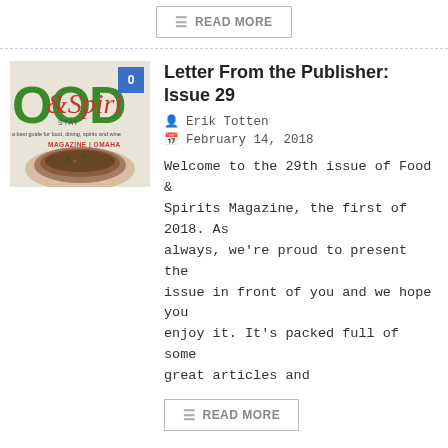READ MORE
[Figure (photo): Magazine cover for Food & Spirits Magazine, Omaha edition, showing a bowl of soup]
Letter From the Publisher: Issue 29
Erik Totten
February 14, 2018
Welcome to the 29th issue of Food & Spirits Magazine, the first of 2018. As always, we're proud to present the issue in front of you and we hope you enjoy it. It's packed full of some great articles and
READ MORE
[Figure (photo): Grid of Food & Spirits Magazine covers from previous issues]
Letter From the Publisher: Issue 28